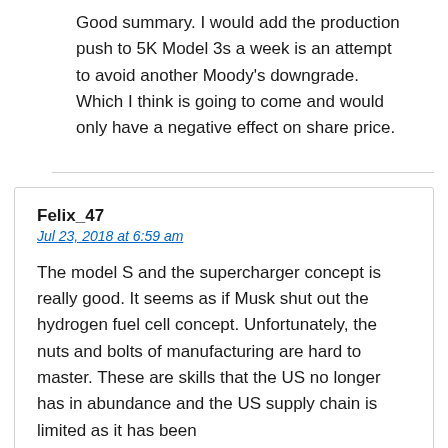Good summary. I would add the production push to 5K Model 3s a week is an attempt to avoid another Moody's downgrade. Which I think is going to come and would only have a negative effect on share price.
Felix_47
Jul 23, 2018 at 6:59 am
The model S and the supercharger concept is really good. It seems as if Musk shut out the hydrogen fuel cell concept. Unfortunately, the nuts and bolts of manufacturing are hard to master. These are skills that the US no longer has in abundance and the US supply chain is limited as it has been